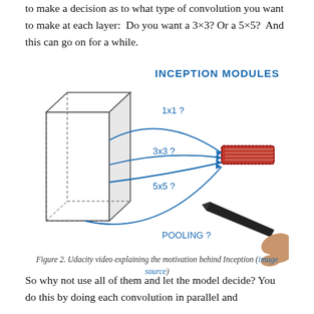to make a decision as to what type of convolution you want to make at each layer:  Do you want a 3×3? Or a 5×5?  And this can go on for a while.
[Figure (illustration): Hand-drawn style diagram showing Inception Modules concept: a 3D rectangular block (input feature map) on the left with four curved arrows pointing right, labeled 1x1?, 3x3?, 5x5?, and POOLING?, all converging to a red stacked rectangle on the right. A hand holding a stylus pen is visible at the bottom right. Title reads 'INCEPTION MODULES' in blue handwritten text.]
Figure 2. Udacity video explaining the motivation behind Inception (image source)
So why not use all of them and let the model decide? You do this by doing each convolution in parallel and